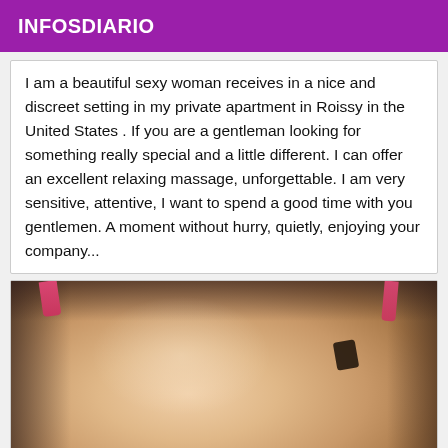INFOSDIARIO
I am a beautiful sexy woman receives in a nice and discreet setting in my private apartment in Roissy in the United States . If you are a gentleman looking for something really special and a little different. I can offer an excellent relaxing massage, unforgettable. I am very sensitive, attentive, I want to spend a good time with you gentlemen. A moment without hurry, quietly, enjoying your company...
[Figure (photo): Close-up photo showing a person's body with a pink strap visible, warm skin tones, dark background]